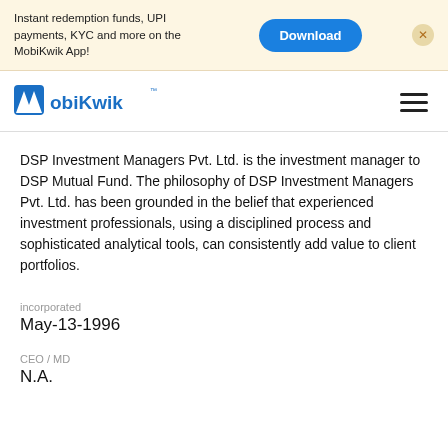[Figure (screenshot): MobiKwik app promotional banner: 'Instant redemption funds, UPI payments, KYC and more on the MobiKwik App!' with a blue 'Download' button and a close icon.]
[Figure (logo): MobiKwik logo with hamburger menu icon on the right.]
DSP Investment Managers Pvt. Ltd. is the investment manager to DSP Mutual Fund. The philosophy of DSP Investment Managers Pvt. Ltd. has been grounded in the belief that experienced investment professionals, using a disciplined process and sophisticated analytical tools, can consistently add value to client portfolios.
incorporated
May-13-1996
CEO / MD
N.A.